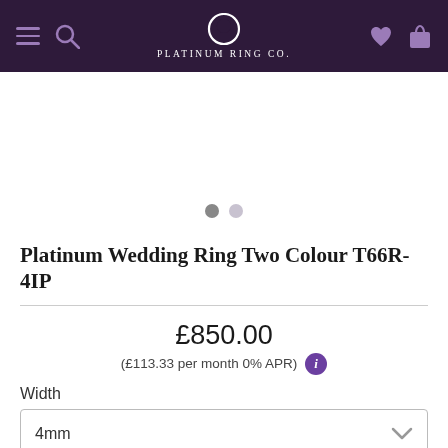Platinum Ring Co.
[Figure (other): Product image carousel area with two navigation dots]
Platinum Wedding Ring Two Colour T66R-4IP
£850.00
(£113.33 per month 0% APR)
Width
4mm